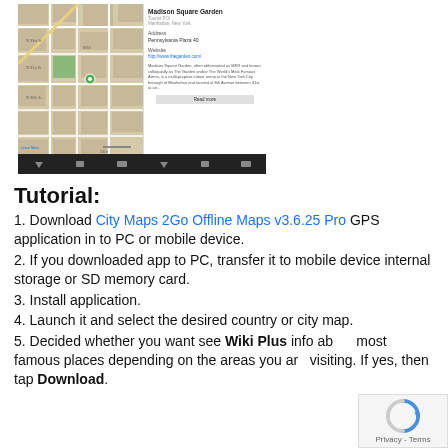[Figure (screenshot): Screenshot of City Maps 2Go app showing Madison Square Garden on a map with info panel displaying address, website, and description, with Read more button and navigation bars]
Tutorial:
1. Download City Maps 2Go Offline Maps v3.6.25 Pro GPS application in to PC or mobile device.
2. If you downloaded app to PC, transfer it to mobile device internal storage or SD memory card.
3. Install application.
4. Launch it and select the desired country or city map.
5. Decided whether you want see Wiki Plus info about most famous places depending on the areas you are visiting. If yes, then tap Download.
[Figure (screenshot): Google reCAPTCHA privacy badge with Privacy - Terms link]